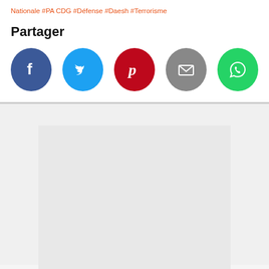Nationale #PA CDG #Défense #Daesh #Terrorisme
Partager
[Figure (infographic): Social sharing icons: Facebook (blue circle with f), Twitter (light blue circle with bird), Pinterest (red circle with P), Email (grey circle with envelope), WhatsApp (green circle with phone)]
[Figure (other): Large light grey placeholder rectangle block]